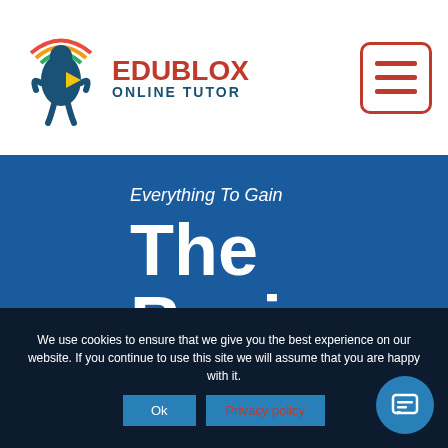[Figure (logo): Edublox Online Tutor logo with colorful circular icon and text]
[Figure (other): Hamburger menu button with red border and three red horizontal bars]
Everything To Gain
The Basics
We use cookies to ensure that we give you the best experience on our website. If you continue to use this site we will assume that you are happy with it.
Ok
Privacy policy